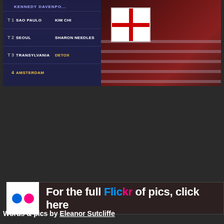[Figure (photo): Event photo showing a scoreboard on the left with cities (Sao Paulo, Seoul, Transylvania, Amsterdam) and names (Kennedy Davenport, Kim Chi, Sharon Needles, Detox) on a blue screen, and a performer in red dress holding a white gift box on the right]
For the full Flickr of pics, click here
Words & pics by Eleanor Sutcliffe